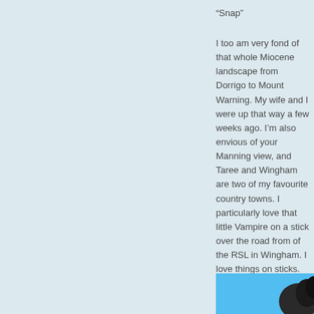“Snap”
I too am very fond of that whole Miocene landscape from Dorrigo to Mount Warning. My wife and I were up that way a few weeks ago. I’m also envious of your Manning view, and Taree and Wingham are two of my favourite country towns. I particularly love that little Vampire on a stick over the road from of the RSL in Wingham. I love things on sticks.
[Figure (photo): Partial view of a dark aircraft (possibly a Vampire jet) against a bright blue sky, cropped showing the nose/front section.]